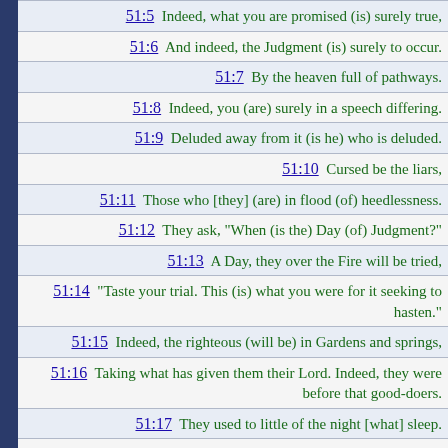| 51:5 | Indeed, what you are promised (is) surely true, |
| 51:6 | And indeed, the Judgment (is) surely to occur. |
| 51:7 | By the heaven full of pathways. |
| 51:8 | Indeed, you (are) surely in a speech differing. |
| 51:9 | Deluded away from it (is he) who is deluded. |
| 51:10 | Cursed be the liars, |
| 51:11 | Those who [they] (are) in flood (of) heedlessness. |
| 51:12 | They ask, "When (is the) Day (of) Judgment?" |
| 51:13 | A Day, they over the Fire will be tried, |
| 51:14 | "Taste your trial. This (is) what you were for it seeking to hasten." |
| 51:15 | Indeed, the righteous (will be) in Gardens and springs, |
| 51:16 | Taking what has given them their Lord. Indeed, they were before that good-doers. |
| 51:17 | They used to little of the night [what] sleep. |
| 51:18 | And in the hours before dawn they would ask forgiveness, |
| 51:19 | And in their wealth (was the) right (of) those who asked and the deprived |